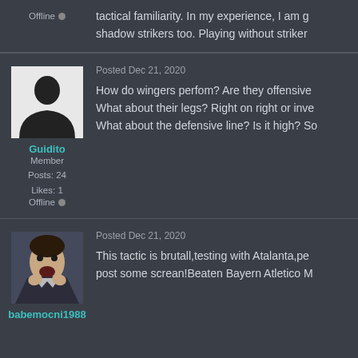Offline
tactical familiarity. In my experience, I am g shadow strikers too. Playing without striker
Posted Dec 21, 2020
Guidito
Member
Posts: 24
Likes: 1
Offline
How do wingers perfom? Are they offensive What about their legs? Right on right or inve What about the defensive line? Is it high? So
Posted Dec 21, 2020
babemocni1988
This tactic is brutall,testing with Atalanta,pe post some screan!Beaten Bayern Atletico M